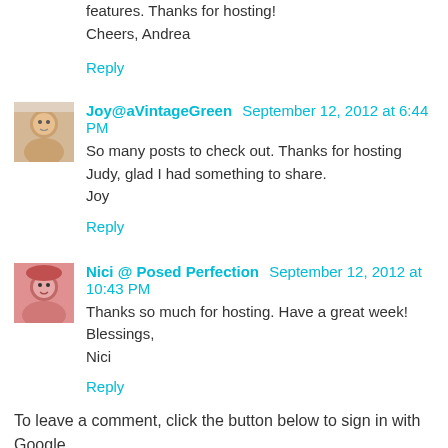features. Thanks for hosting!
Cheers, Andrea
Reply
Joy@aVintageGreen  September 12, 2012 at 6:44 PM
So many posts to check out. Thanks for hosting Judy, glad I had something to share.
Joy
Reply
Nici @ Posed Perfection  September 12, 2012 at 10:43 PM
Thanks so much for hosting. Have a great week!
Blessings,
Nici
Reply
To leave a comment, click the button below to sign in with Google.